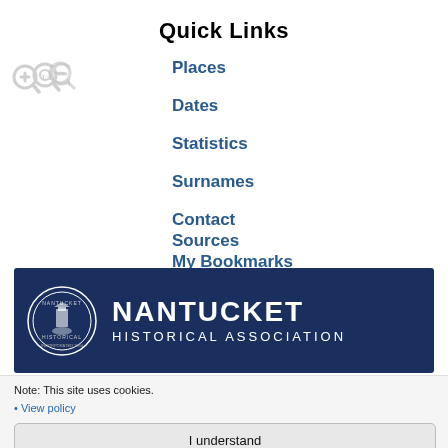Quick Links
[Figure (illustration): Three zoom control icons: zoom in (plus magnifier), reset to 1:1, and zoom out (minus magnifier) in grey]
Places
Dates
Statistics
Surnames
Contact
Sources
My Bookmarks
[Figure (logo): Nantucket Historical Association banner with circular seal logo on dark navy background, text reads NANTUCKET HISTORICAL ASSOCIATION]
Note: This site uses cookies.
• View policy
I understand